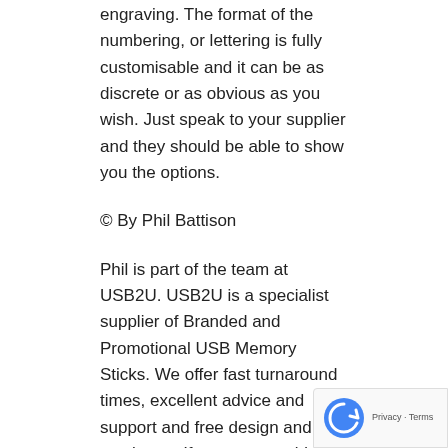engraving. The format of the numbering, or lettering is fully customisable and it can be as discrete or as obvious as you wish. Just speak to your supplier and they should be able to show you the options.
© By Phil Battison
Phil is part of the team at USB2U. USB2U is a specialist supplier of Branded and Promotional USB Memory Sticks. We offer fast turnaround times, excellent advice and support and free design and mock-ups. If you are considering Branded Memory Sticks or want custom USB memory sticks then please contact us – we 'd be delighted to hear from you.